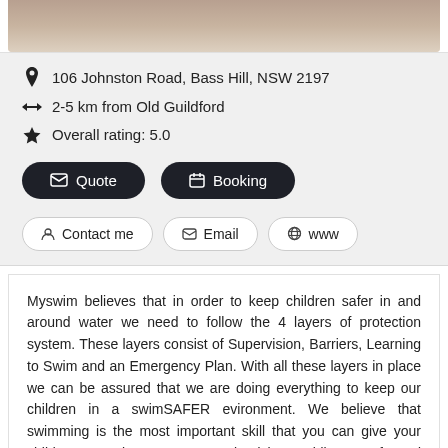[Figure (photo): Top portion of a photo showing a child swimmer, partially cropped]
106 Johnston Road, Bass Hill, NSW 2197
2-5 km from Old Guildford
Overall rating: 5.0
Quote  Booking
Contact me  Email  www
Myswim believes that in order to keep children safer in and around water we need to follow the 4 layers of protection system. These layers consist of Supervision, Barriers, Learning to Swim and an Emergency Plan. With all these layers in place we can be assured that we are doing everything to keep our children in a swimSAFER evironment. We believe that swimming is the most important skill that you can give your child. At Myswim we are committed in providing a safe and friendly environment by ensuring...  Read more